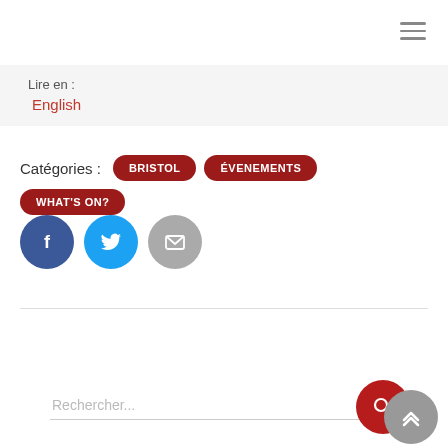[Figure (other): Hamburger menu icon (three horizontal lines) in top right corner]
Lire en :
English
Catégories : BRISTOL ÉVENEMENTS WHAT'S ON?
[Figure (other): Social share buttons: Facebook (blue circle with f), Twitter (light blue circle with bird), Email (grey circle with envelope)]
[Figure (other): Search bar with placeholder 'Rechercher...', red circle search button, and grey circle back-to-top button]